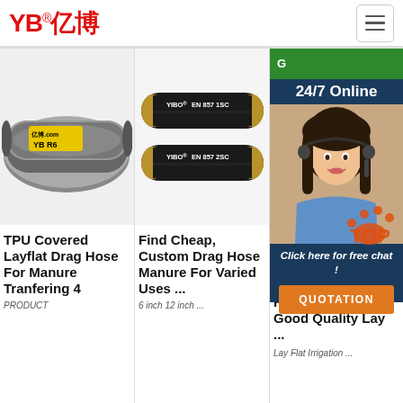[Figure (logo): YB亿博 company logo in red with registered trademark symbol]
[Figure (photo): Hamburger menu icon button]
[Figure (photo): TPU covered layflat drag hose coil with yellow YB R6 label]
TPU Covered Layflat Drag Hose For Manure Tranfering 4
PRODUCT
[Figure (photo): Two YIBO EN 857 1SC and EN 857 2SC hydraulic hoses]
Find Cheap, Custom Drag Hose Manure For Varied Uses ...
6 inch 12 inch ...
[Figure (photo): 24/7 Online customer service chat widget with agent photo and QUOTATION button]
Lay Flat Irrigation Hose Factory, Buy Good Quality Lay ...
Lay Flat Irrigation ...